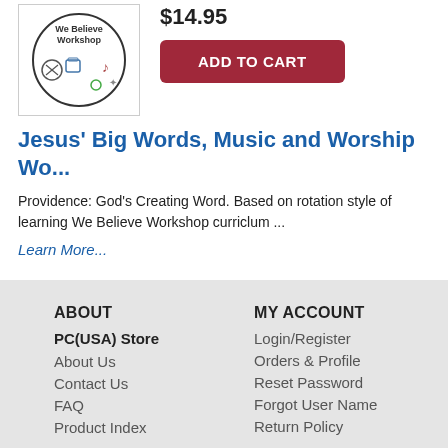[Figure (illustration): We Believe Workshop curriculum product image with circular logo featuring icons of sports ball, computer, musical note, and other activity symbols]
$14.95
ADD TO CART
Jesus' Big Words, Music and Worship Wo...
Providence: God's Creating Word. Based on rotation style of learning We Believe Workshop curriclum ...
Learn More...
ABOUT
PC(USA) Store
About Us
Contact Us
FAQ
Product Index
MY ACCOUNT
Login/Register
Orders & Profile
Reset Password
Forgot User Name
Return Policy
OUR PARTNERS
Presbyterian Mission Agency
Presbyterian Women